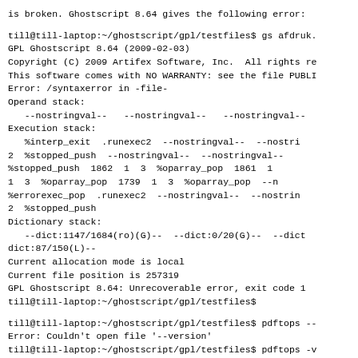is broken. Ghostscript 8.64 gives the following error:
till@till-laptop:~/ghostscript/gpl/testfiles$ gs afdruk.
GPL Ghostscript 8.64 (2009-02-03)
Copyright (C) 2009 Artifex Software, Inc.  All rights re
This software comes with NO WARRANTY: see the file PUBLI
Error: /syntaxerror in -file-
Operand stack:
   --nostringval--   --nostringval--   --nostringval--
Execution stack:
   %interp_exit  .runexec2  --nostringval--  --nostri
2  %stopped_push  --nostringval--  --nostringval--
%stopped_push  1862  1  3  %oparray_pop  1861  1
1  3  %oparray_pop  1739  1  3  %oparray_pop  --n
%errorexec_pop  .runexec2  --nostringval--  --nostrin
2  %stopped_push
Dictionary stack:
   --dict:1147/1684(ro)(G)--  --dict:0/20(G)--  --dict
dict:87/150(L)--
Current allocation mode is local
Current file position is 257319
GPL Ghostscript 8.64: Unrecoverable error, exit code 1
till@till-laptop:~/ghostscript/gpl/testfiles$
till@till-laptop:~/ghostscript/gpl/testfiles$ pdftops --
Error: Couldn't open file '--version'
till@till-laptop:~/ghostscript/gpl/testfiles$ pdftops -v
Error: Couldn't open file '-version'
Version of pdftops: